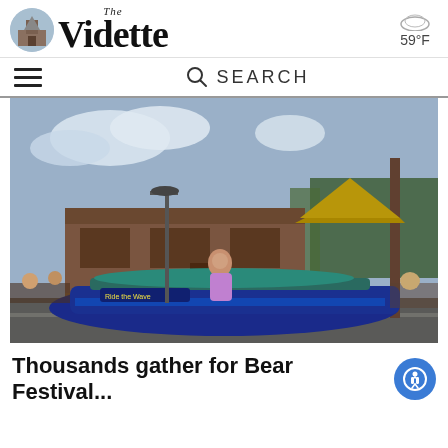The Vidette
59°F
SEARCH
[Figure (photo): A parade float decorated in blue and teal sequins with a tropical theme including a thatched hut roof and dolphin decorations. A woman in a purple gown stands on the float. Spectators line the street in front of a brown wooden building.]
Thousands gather for Bear Festival...